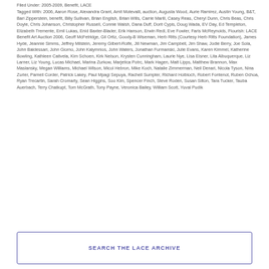Filed Under: 2005-2009, Benefit, LACE
Tagged With: 2006, Aaron Rose, Alexandra Grant, Amit Motevalli, auction, Augusta Wood, Aurie Ramirez, Austin Young, B&T, Bari Zipperstein, benefit, Billy Sullivan, Brian English, Brian Wills, Carrie Marill, Casey Reas, Cheryl Dunn, Chris Beas, Chris Doyle, Chris Johanson, Christopher Russell, Connie Walsh, Dana Duff, Dorit Cypis, Doug Wada, EV Day, Ed Templeton, Elizabeth Tremente, Emil Lukas, Enid Baxter-Blader, Erik Hanson, Erwin Redl, Eve Fowler, Faris McReynolds, Flourish: LACE Benefit Art Auction 2006, Geoff McFetridge, Gil Ortiz, Goody-B Wiseman, Herb Ritts (Courtesy Herb Ritts Foundation), James Hyde, Jeannie Simms, Jeffrey Milstein, Jeremy Gilbert-Rolfe, Jill Newman, Jim Campbell, Jim Shaw, Jodie Berry, Joe Sola, John Baldessari, John Giorno, John Kalymnios, John Waters, Jonathan Furmanski, Julie Evans, Karen Kimmel, Katherine Bowling, Kathleen Cativela, Kim Schoen, Kirk Nelson, Krysten Cunningham, Laurie Nye, Lisa Eisner, Lita Albuquerque, Liz Larner, Liz Young, Lucas Michael, Marina Zurkow, Marjetica Potrc, Mark Hagen, Matt Lipps, Matthew Brannon, Max Maslansky, Megan Williams, Michael Wilson, Micol Hebron, Mike Koch, Natalie Zimmerman, Neil Denari, Nicola Tyson, Nina Zurier, Parnell Corder, Patrick Lakey, Paul Mpagi Sepuya, Rachell Sumpter, Richard Holbloch, Robert Fontenot, Ruben Ochoa, Ryan Trecartin, Sarah Cromarty, Sean Higgins, Soo Kim, Spencer Finch, Steve Roden, Susan Silton, Tara Tucker, Tauba Auerbach, Terry Chatkupt, Tom McGrath, Tony Payne, Veronica Bailey, William Scott, Yuval Pudik
SEARCH THE LACE ARCHIVE